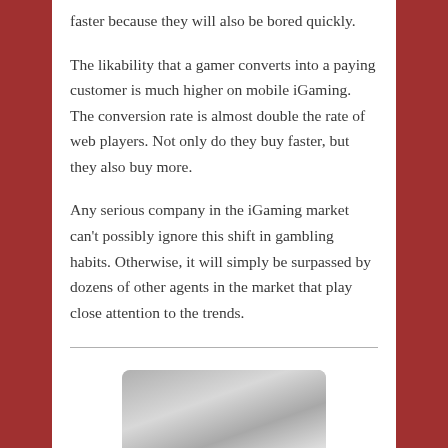faster because they will also be bored quickly.
The likability that a gamer converts into a paying customer is much higher on mobile iGaming. The conversion rate is almost double the rate of web players. Not only do they buy faster, but they also buy more.
Any serious company in the iGaming market can't possibly ignore this shift in gambling habits. Otherwise, it will simply be surpassed by dozens of other agents in the market that play close attention to the trends.
[Figure (photo): Black and white photo partially visible at the bottom of the page]